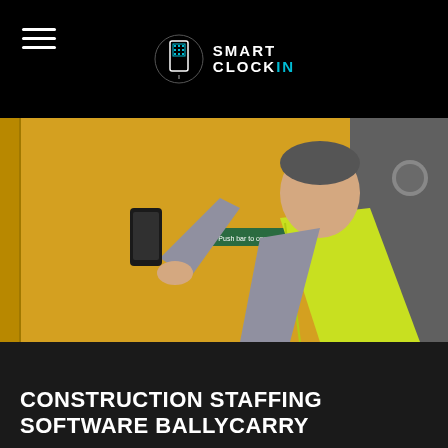[Figure (logo): Smart ClockIn logo with QR code phone icon and text SMART CLOCKIN]
[Figure (photo): A construction worker in a hi-vis yellow vest holding up a smartphone, standing in front of a yellow wall/door with a green sign]
CONSTRUCTION STAFFING SOFTWARE BALLYCARRY